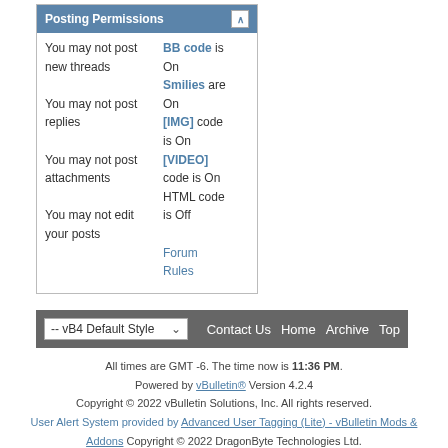|  |  |
| --- | --- |
| You may not post new threads | BB code is On |
| You may not post replies | Smilies are On |
| You may not post attachments | [IMG] code is On |
| You may not edit your posts | [VIDEO] code is On |
|  | HTML code is Off |
|  | Forum Rules |
-- vB4 Default Style  Contact Us  Home  Archive  Top
All times are GMT -6. The time now is 11:36 PM. Powered by vBulletin® Version 4.2.4 Copyright © 2022 vBulletin Solutions, Inc. All rights reserved. User Alert System provided by Advanced User Tagging (Lite) - vBulletin Mods & Addons Copyright © 2022 DragonByte Technologies Ltd.